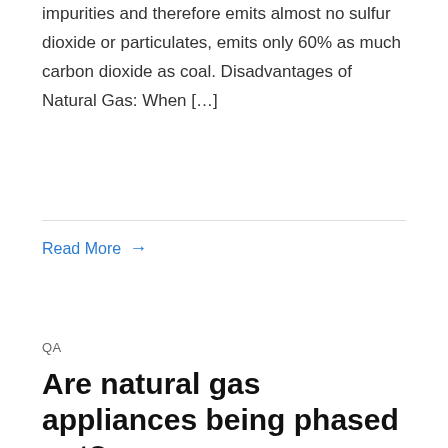impurities and therefore emits almost no sulfur dioxide or particulates, emits only 60% as much carbon dioxide as coal. Disadvantages of Natural Gas: When […]
Read More →
QA
Are natural gas appliances being phased out?